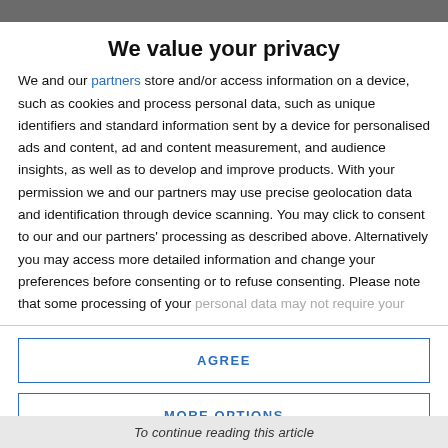We value your privacy
We and our partners store and/or access information on a device, such as cookies and process personal data, such as unique identifiers and standard information sent by a device for personalised ads and content, ad and content measurement, and audience insights, as well as to develop and improve products. With your permission we and our partners may use precise geolocation data and identification through device scanning. You may click to consent to our and our partners' processing as described above. Alternatively you may access more detailed information and change your preferences before consenting or to refuse consenting. Please note that some processing of your personal data may not require your consent, but you have a right to
AGREE
MORE OPTIONS
To continue reading this article